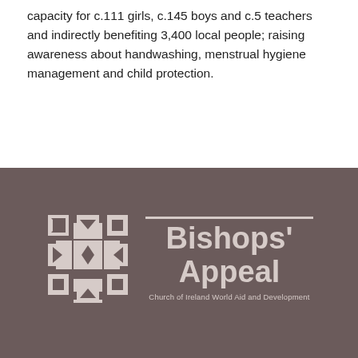capacity for c.111 girls, c.145 boys and c.5 teachers and indirectly benefiting 3,400 local people; raising awareness about handwashing, menstrual hygiene management and child protection.
[Figure (logo): Bishops' Appeal logo – Church of Ireland World Aid and Development. A decorative cross symbol in taupe/beige on dark brown background, next to the text 'Bishops' Appeal' in large bold letters with a horizontal rule above, and 'Church of Ireland World Aid and Development' in smaller text below.]